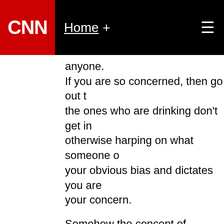CNN Home +
anyone.
If you are so concerned, then go out to the ones who are drinking don't get in otherwise harping on what someone o your obvious bias and dictates you are your concern.

Somehow the concept of forgiveness married... try to adopt that concept as healthy life.
Remember, whoever sins you retain th and whoever sins you remit, they are r Why do you insist on retaining the sins even know... that's hardly wise is it.
February 26, 2014 at 12:34 pm |
igaftr
newman
So we should go to all of the prisons o